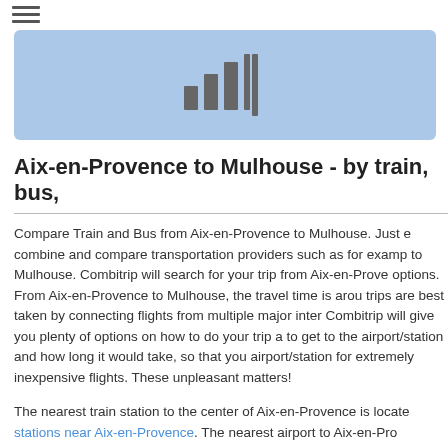[Figure (logo): Hamburger menu icon (three horizontal lines)]
[Figure (illustration): Light blue banner with a signal/bar chart icon in grey representing train/transport comparison widget]
Aix-en-Provence to Mulhouse - by train, bus,
Compare Train and Bus from Aix-en-Provence to Mulhouse. Just e combine and compare transportation providers such as for examp to Mulhouse. Combitrip will search for your trip from Aix-en-Prove options. From Aix-en-Provence to Mulhouse, the travel time is arou trips are best taken by connecting flights from multiple major inter Combitrip will give you plenty of options on how to do your trip a to get to the airport/station and how long it would take, so that you airport/station for extremely inexpensive flights. These unpleasant matters!
The nearest train station to the center of Aix-en-Provence is locate stations near Aix-en-Provence. The nearest airport to Aix-en-Pro